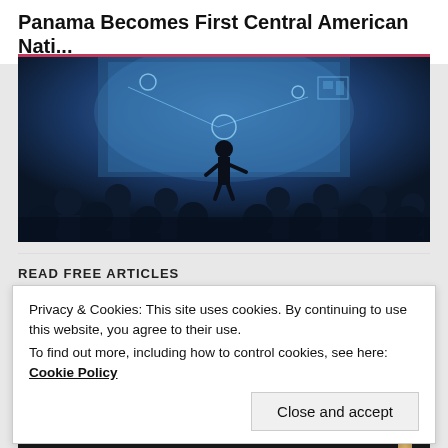Panama Becomes First Central American Nati...
[Figure (photo): Silhouetted audience watching a presenter standing in front of a large blue digital display screen showing technology/data visualizations]
READ FREE ARTICLES
Privacy & Cookies: This site uses cookies. By continuing to use this website, you agree to their use.
To find out more, including how to control cookies, see here: Cookie Policy
Close and accept
[Figure (photo): Chalkboard with the word CONTENT written in white chalk with an underline]